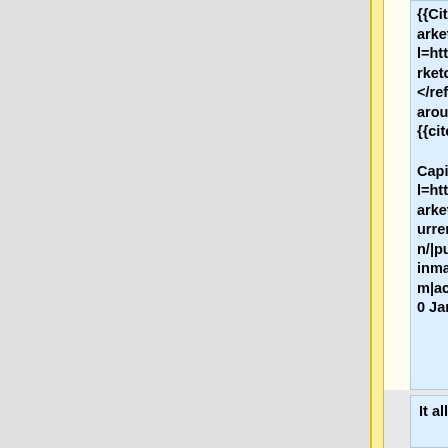{{Cite web|title=Coinmarketcap.com|url=https://coinmarketcap.com/}}</ref> now with the total market cap around 250 billion US dollars.<ref>{{cite web|title=Market Capitalization|url=https://coinmarketcap.com/currencies/bitcoin/|publisher=Coinmarketcap.com|accessdate=10 January 2018}}</ref>
It allows for